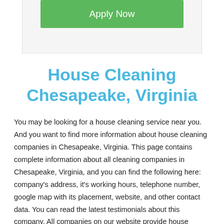[Figure (other): Green 'Apply Now' button inside a light grey card/panel]
House Cleaning Chesapeake, Virginia
You may be looking for a house cleaning service near you. And you want to find more information about house cleaning companies in Chesapeake, Virginia. This page contains complete information about all cleaning companies in Chesapeake, Virginia, and you can find the following here: company's address, it's working hours, telephone number, google map with its placement, website, and other contact data. You can read the latest testimonials about this company. All companies on our website provide house cleaning. If you need a daily deep house cleaning, or one-time services, but